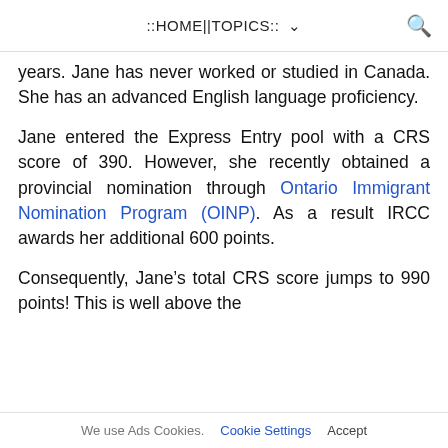::HOME||TOPICS:: ▾
years. Jane has never worked or studied in Canada. She has an advanced English language proficiency.
Jane entered the Express Entry pool with a CRS score of 390. However, she recently obtained a provincial nomination through Ontario Immigrant Nomination Program (OINP). As a result IRCC awards her additional 600 points.
Consequently, Jane's total CRS score jumps to 990 points! This is well above the
We use Ads Cookies.  Cookie Settings  Accept